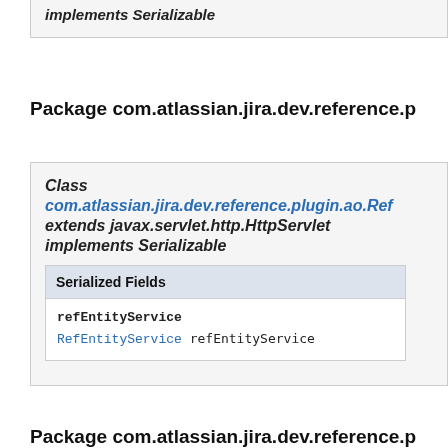implements Serializable
Package com.atlassian.jira.dev.reference.p
Class
com.atlassian.jira.dev.reference.plugin.ao.Ref
extends javax.servlet.http.HttpServlet
implements Serializable
| Serialized Fields |
| --- |
| refEntityService |
| RefEntityService refEntityService |
Package com.atlassian.jira.dev.reference.p